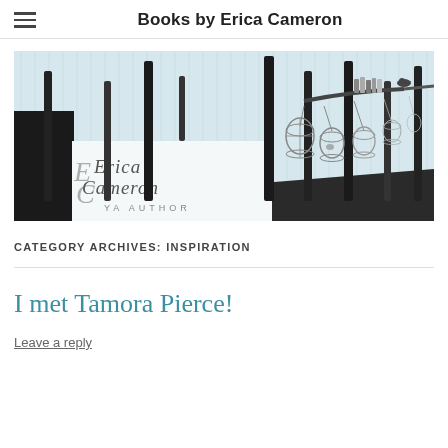Books by Erica Cameron
[Figure (illustration): Banner image for Erica Cameron YA Author website. Features silhouetted trees against a light blue background, with hanging birdcages, a bird on a branch with stacked books, and a white panel with 'Erica Cameron YA AUTHOR' in script lettering.]
CATEGORY ARCHIVES: INSPIRATION
I met Tamora Pierce!
Leave a reply